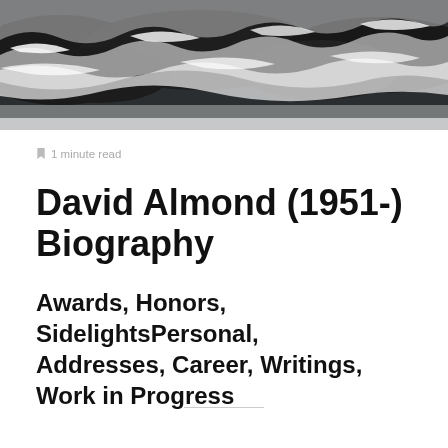[Figure (photo): Aerial photo of ocean waves crashing with white foam against dark rocky water, black and white tones]
🔖 1 minute read
David Almond (1951-) Biography
Awards, Honors, SidelightsPersonal, Addresses, Career, Writings, Work in Progress